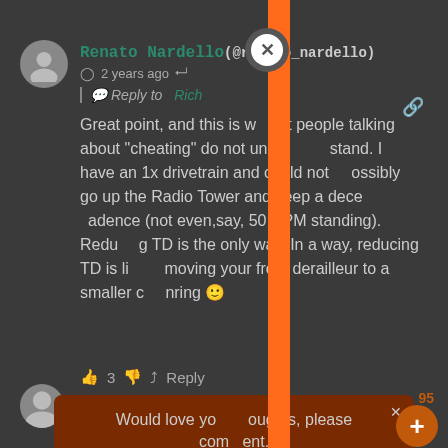[Figure (screenshot): Social media comment screenshot with orange vertical UI bar overlay and close button. Comment by Renato Nardello (@renato_nardello) posted 2 years ago, replying to Rich. Text: 'Great point, and this is what people talking about "cheating" do not understand. I have an 1x drivetrain and could not possibly go up the Radio Tower and keep a decent cadence (not even,say, 50 RPM standing). Reducing TD is the only way. In a way, reducing TD is like moving your front derailleur to a smaller chainring'. Reaction: 3 likes. CTA tooltip: 'Would love your thoughts, please comment.' Plus button with 95 badge.]